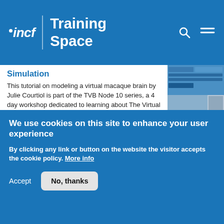incf | Training Space
Simulation
[Figure (screenshot): Screenshot of a macaque brain model simulation interface with CHARITÉ logo and a simulation toolbar visible.]
This tutorial on modeling a virtual macaque brain by Julie Courtiol is part of the TVB Node 10 series, a 4 day workshop dedicated to learning about The Virtual Brain, brain imaging, brain simulation, personalised brain models, TVB use cases, etc. TVB is a full brain simulation platform.
Difficulty level:   Intermediate
We use cookies on this site to enhance your user experience
By clicking any link or button on the website the visitor accepts the cookie policy. More info
Accept
No, thanks